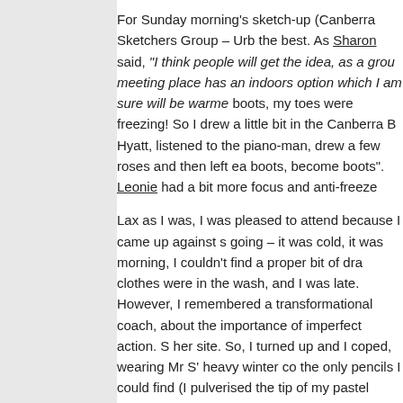For Sunday morning's sketch-up (Canberra Sketchers Group – Urb the best. As Sharon said, "I think people will get the idea, as a grou meeting place has an indoors option which I am sure will be warme boots, my toes were freezing! So I drew a little bit in the Canberra H Hyatt, listened to the piano-man, drew a few roses and then left ea boots, become boots". Leonie had a bit more focus and anti-freeze
Lax as I was, I was pleased to attend because I came up against s going – it was cold, it was morning, I couldn't find a proper bit of dra clothes were in the wash, and I was late. However, I remembered a transformational coach, about the importance of imperfect action. S her site. So, I turned up and I coped, wearing Mr S' heavy winter co the only pencils I could find (I pulverised the tip of my pastel pencil gardens).
Despite all these things, I had a pleasant time, found the gardens t another new person – thank the goddess!), thought about my focus waterbirds, made up a murder story about a boat (it has a cover on sculptures and saw details that I wouldn't have otherwise, and adm large rug areas look a lot like stylised tyre skid patterns). It was wo
1 Comment